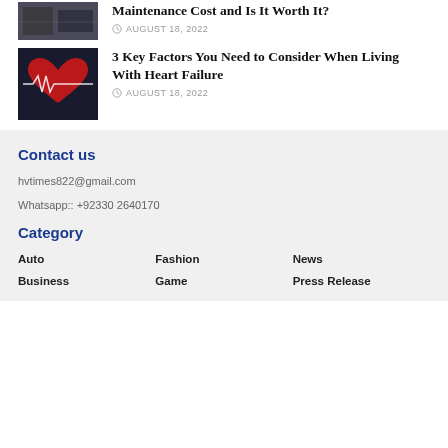Maintenance Cost and Is It Worth It?
AUGUST 18, 2022
[Figure (photo): Person holding a red heart with ECG line, dark background]
3 Key Factors You Need to Consider When Living With Heart Failure
AUGUST 18, 2022
Contact us
hvtimes822@gmail.com
Whatsapp:: +92330 2640170
Category
Auto
Fashion
News
Business
Game
Press Release